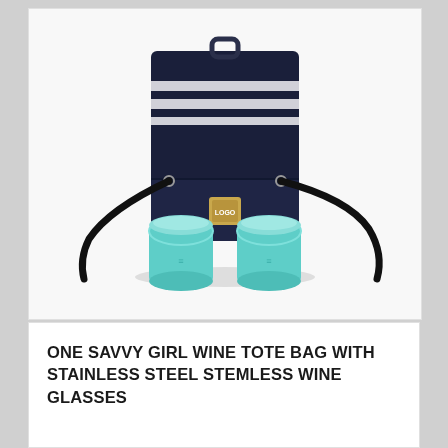[Figure (photo): A navy blue and white striped wine tote bag with a shoulder strap and a small square logo patch on the front flap, photographed on a white background. In front of the bag are two teal/mint colored stainless steel stemless wine glasses.]
ONE SAVVY GIRL WINE TOTE BAG WITH STAINLESS STEEL STEMLESS WINE GLASSES